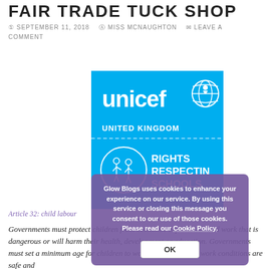FAIR TRADE TUCK SHOP
SEPTEMBER 11, 2018   MISS MCNAUGHTON   LEAVE A COMMENT
[Figure (logo): UNICEF United Kingdom Rights Respecting Schools logo on blue background with dashed divider line and children illustration]
Glow Blogs uses cookies to enhance your experience on our service. By using this service or closing this message you consent to our use of those cookies. Please read our Cookie Policy.  OK
Article 32: child labour
Governments must protect children from economic exploitation and work that is dangerous or will harm their health, development or education. Governments must set a minimum age for children to work and ensure that work conditions are safe and appropriate.